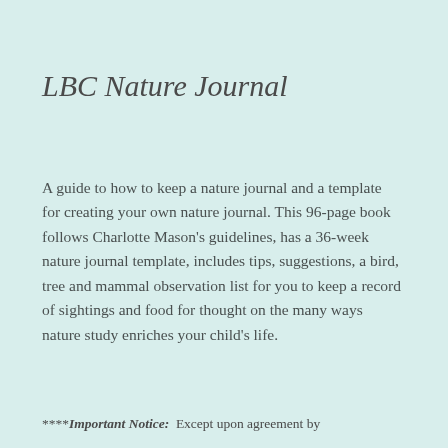LBC Nature Journal
A guide to how to keep a nature journal and a template for creating your own nature journal. This 96-page book follows Charlotte Mason's guidelines, has a 36-week nature journal template, includes tips, suggestions, a bird, tree and mammal observation list for you to keep a record of sightings and food for thought on the many ways nature study enriches your child's life.
****Important Notice:  Except upon agreement by